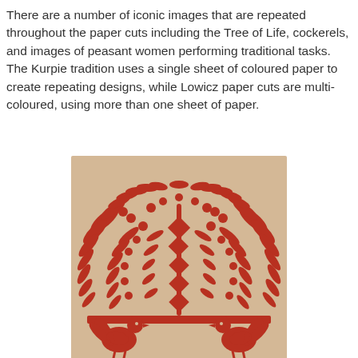There are a number of iconic images that are repeated throughout the paper cuts including the Tree of Life, cockerels, and images of peasant women performing traditional tasks. The Kurpie tradition uses a single sheet of coloured paper to create repeating designs, while Lowicz paper cuts are multi-coloured, using more than one sheet of paper.
[Figure (illustration): A red paper cut artwork on a beige/cream background showing a Tree of Life design with intricate fern-like fronds arranged in an arch, circular dot patterns, a central column with geometric diamond shapes, and two cockerel silhouettes at the bottom. This is a Polish wycinanki paper cut in the Kurpie or Lowicz tradition.]